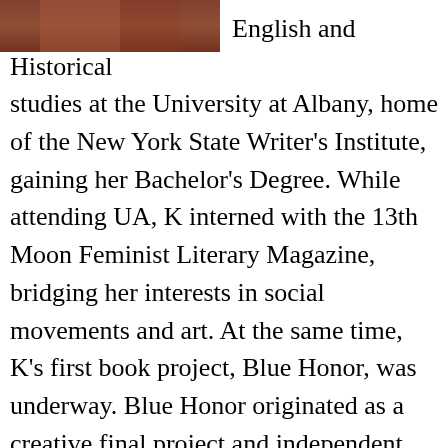[Figure (photo): Partial photo visible at top left corner of the page, cropped, showing warm reddish-brown tones.]
English and Historical studies at the University at Albany, home of the New York State Writer's Institute, gaining her Bachelor's Degree. While attending UA, K interned with the 13th Moon Feminist Literary Magazine, bridging her interests in social movements and art. At the same time, K's first book project, Blue Honor, was underway. Blue Honor originated as a creative final project and independent study, regarding the civil war, which places fictional characters into a non-fictional realm, to display the social realities of the time. Topics include gender limitations, racial disparities, and the trauma of war. Now, Blue is both a full-length novel